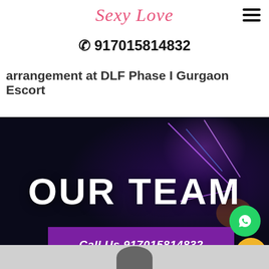Sexy Love
☎ 917015814832
arrangement at DLF Phase I Gurgaon Escort
OUR TEAM
Call Us 917015814832